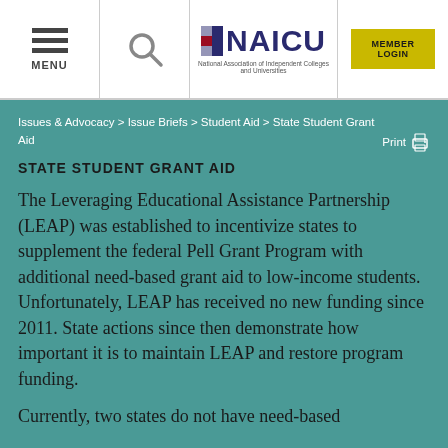MENU | [search icon] | NAICU National Association of Independent Colleges and Universities | MEMBER LOGIN
Issues & Advocacy > Issue Briefs > Student Aid > State Student Grant Aid   Print
STATE STUDENT GRANT AID
The Leveraging Educational Assistance Partnership (LEAP) was established to incentivize states to supplement the federal Pell Grant Program with additional need-based grant aid to low-income students. Unfortunately, LEAP has received no new funding since 2011. State actions since then demonstrate how important it is to maintain LEAP and restore program funding.
Currently, two states do not have need-based